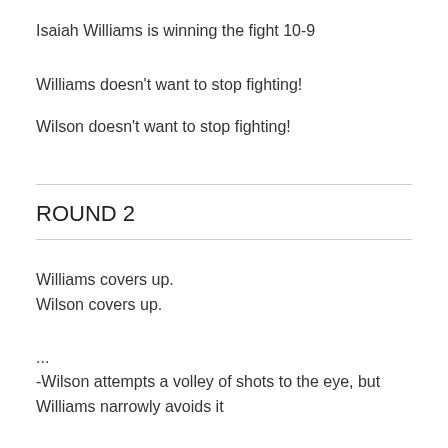Isaiah Williams is winning the fight 10-9
Williams doesn't want to stop fighting!
Wilson doesn't want to stop fighting!
ROUND 2
Williams covers up.
Wilson covers up.
...
-Wilson attempts a volley of shots to the eye, but Williams narrowly avoids it